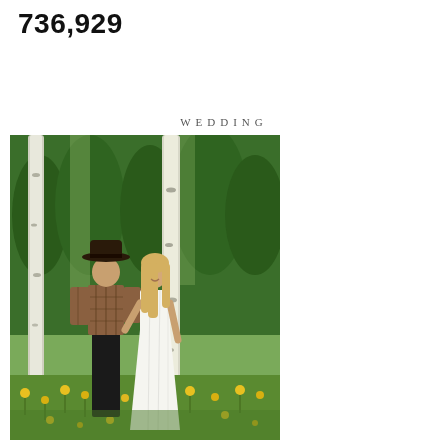736,929
WEDDING
[Figure (photo): Outdoor wedding photo of a couple standing among aspen and pine trees with yellow wildflowers in the foreground. The man wears a cowboy hat and plaid shirt; the woman wears a white strapless wedding gown.]